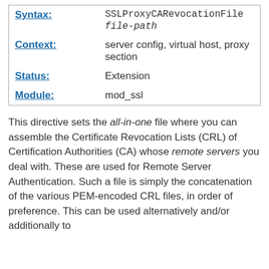| Label | Value |
| --- | --- |
| Syntax: | SSLProxyCARevocationFile file-path |
| Context: | server config, virtual host, proxy section |
| Status: | Extension |
| Module: | mod_ssl |
This directive sets the all-in-one file where you can assemble the Certificate Revocation Lists (CRL) of Certification Authorities (CA) whose remote servers you deal with. These are used for Remote Server Authentication. Such a file is simply the concatenation of the various PEM-encoded CRL files, in order of preference. This can be used alternatively and/or additionally to